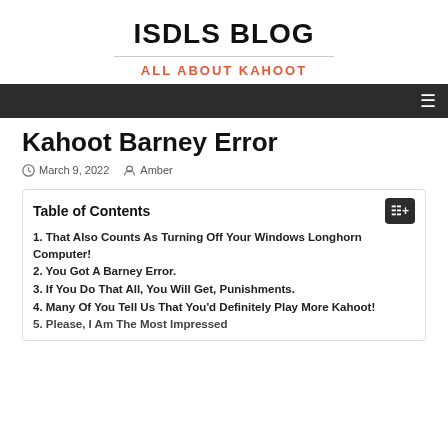ISDLS BLOG
ALL ABOUT KAHOOT
Kahoot Barney Error
March 9, 2022   Amber
Table of Contents
1. That Also Counts As Turning Off Your Windows Longhorn Computer!
2. You Got A Barney Error.
3. If You Do That All, You Will Get, Punishments.
4. Many Of You Tell Us That You'd Definitely Play More Kahoot!
5. Please, I Am The Most Impressed